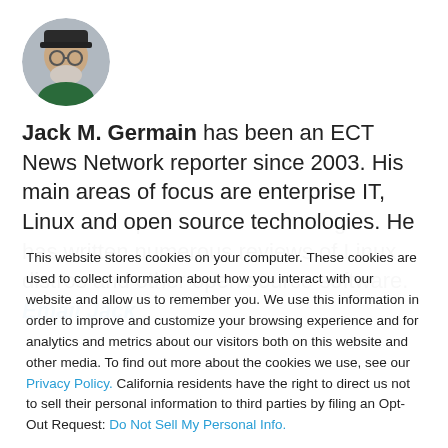[Figure (photo): Circular profile photo of Jack M. Germain, an older man with glasses and a grey beard, wearing a dark cap.]
Jack M. Germain has been an ECT News Network reporter since 2003. His main areas of focus are enterprise IT, Linux and open source technologies. He has written numerous reviews of Linux distros and other open source software. Email Jack
This website stores cookies on your computer. These cookies are used to collect information about how you interact with our website and allow us to remember you. We use this information in order to improve and customize your browsing experience and for analytics and metrics about our visitors both on this website and other media. To find out more about the cookies we use, see our Privacy Policy. California residents have the right to direct us not to sell their personal information to third parties by filing an Opt-Out Request: Do Not Sell My Personal Info.